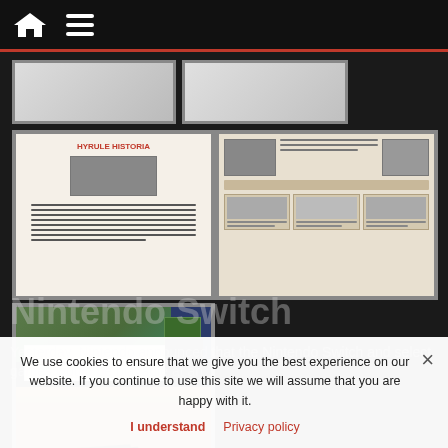[Figure (screenshot): Website navigation bar with dark background, red bottom border, home icon and hamburger menu icon]
[Figure (photo): Partially visible thumbnail image on left side]
[Figure (photo): Partially visible thumbnail image on right side]
[Figure (photo): Photo of a book page showing red title text and illustrated content on cream background]
[Figure (photo): Photo of a game guide page showing multiple sections with screenshots and text]
[Figure (photo): Photo of Zelda game cartridge box on a wooden surface]
Nintendo Switch
Yesterday, Nintendo announced that the Nintendo Switch and select games would be playable at an
We use cookies to ensure that we give you the best experience on our website. If you continue to use this site we will assume that you are happy with it.
I understand  Privacy policy